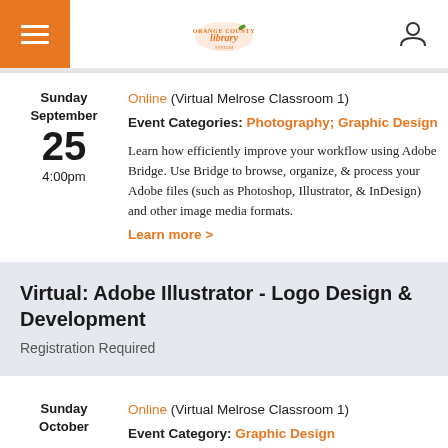Orange County Library (logo) | Menu | User icon
Online (Virtual Melrose Classroom 1)
Event Categories: Photography; Graphic Design
Learn how efficiently improve your workflow using Adobe Bridge. Use Bridge to browse, organize, & process your Adobe files (such as Photoshop, Illustrator, & InDesign) and other image media formats.
Learn more >
Sunday September 25 4:00pm
Virtual: Adobe Illustrator - Logo Design & Development
Registration Required
Sunday October
Online (Virtual Melrose Classroom 1)
Event Category: Graphic Design